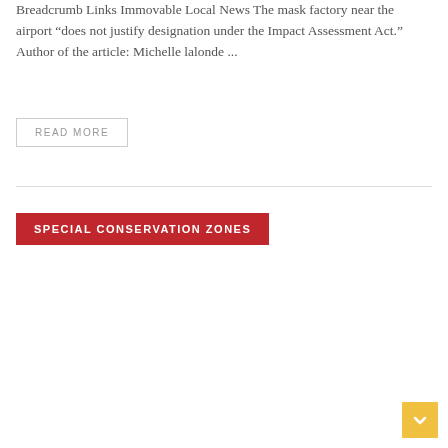Breadcrumb Links Immovable Local News The mask factory near the airport “does not justify designation under the Impact Assessment Act.” Author of the article: Michelle lalonde ...
READ MORE
SPECIAL CONSERVATION ZONES